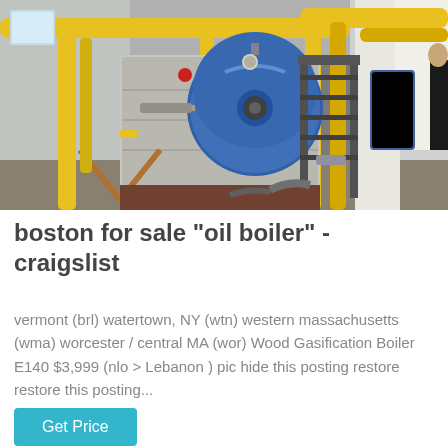[Figure (photo): Industrial boiler facility interior showing a large blue cylindrical boiler tank with yellow pipes and metal staircases. A person is visible on the right edge. The scene is an industrial manufacturing or utility plant setting.]
boston for sale "oil boiler" - craigslist
vermont (brl) watertown, NY (wtn) western massachusetts (wma) worcester / central MA (wor) Wood Gasification Boiler E140 $3,999 (nlo > Lebanon ) pic hide this posting restore restore this posting...
Get Price